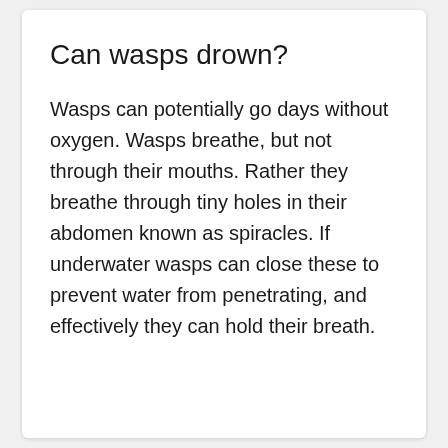Can wasps drown?
Wasps can potentially go days without oxygen. Wasps breathe, but not through their mouths. Rather they breathe through tiny holes in their abdomen known as spiracles. If underwater wasps can close these to prevent water from penetrating, and effectively they can hold their breath.